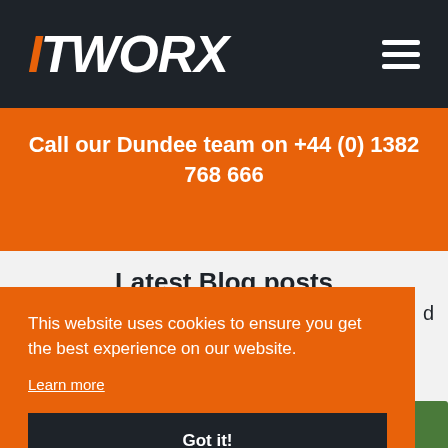ITWORX navigation bar with logo and hamburger menu
Call our Dundee team on +44 (0) 1382 768 666
Latest Blog posts
This website uses cookies to ensure you get the best experience on our website.
Learn more
Got it!